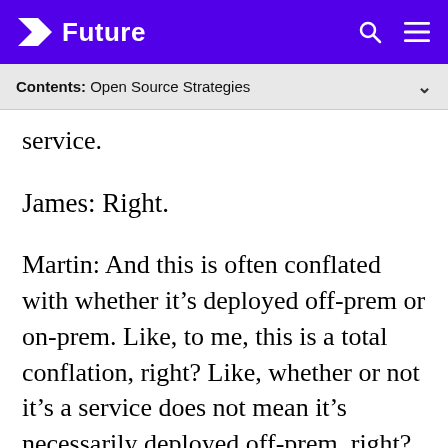Future
Contents: Open Source Strategies
service.
James: Right.
Martin: And this is often conflated with whether it's deployed off-prem or on-prem. Like, to me, this is a total conflation, right? Like, whether or not it's a service does not mean it's necessarily deployed off-prem, right? These are two things. So one decision, off-prem or on-prem. Like, that's actually a